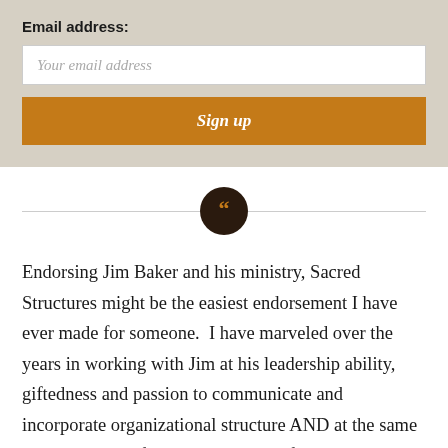Email address:
Your email address
Sign up
[Figure (illustration): Decorative horizontal divider with a dark brown circle in the center containing golden double quotation marks (open quotes symbol)]
Endorsing Jim Baker and his ministry, Sacred Structures might be the easiest endorsement I have ever made for someone. I have marveled over the years in working with Jim at his leadership ability, giftedness and passion to communicate and incorporate organizational structure AND at the same time never lose focus on the value of people. Jim does not speak on personal and organizational management